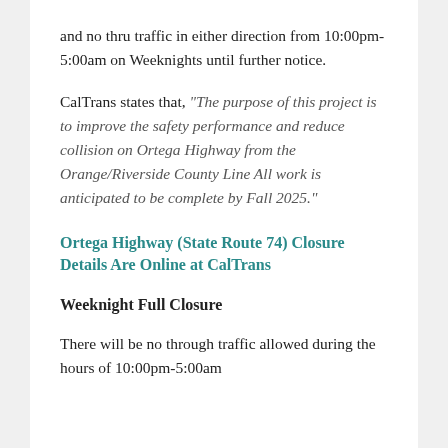and no thru traffic in either direction from 10:00pm-5:00am on Weeknights until further notice.
CalTrans states that, "The purpose of this project is to improve the safety performance and reduce collision on Ortega Highway from the Orange/Riverside County Line All work is anticipated to be complete by Fall 2025."
Ortega Highway (State Route 74) Closure Details Are Online at CalTrans
Weeknight Full Closure
There will be no through traffic allowed during the hours of 10:00pm-5:00am